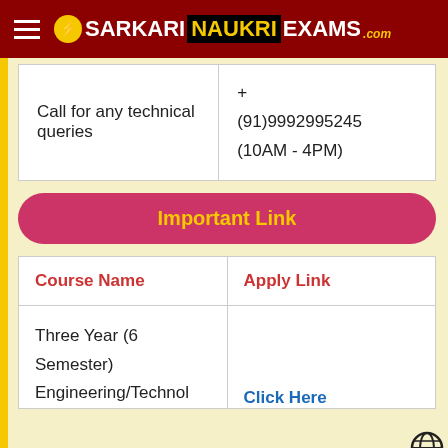SARKARI NAUKRI EXAMS .com
|  |  |
| --- | --- |
| Call for any technical queries | + (91)9992995245 (10AM - 4PM) |
Important Link
| Course Name | Apply Link |
| --- | --- |
| Three Year (6 Semester) Engineering/Technol | Click Here |